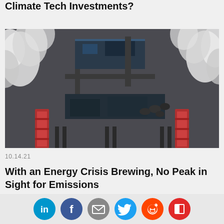Climate Tech Investments?
[Figure (photo): Aerial view of an industrial facility with large smokestacks emitting white smoke/steam, showing factory buildings and infrastructure from above]
10.14.21
With an Energy Crisis Brewing, No Peak in Sight for Emissions
[Figure (other): Social sharing icons bar: LinkedIn, Facebook, Email, Twitter, Reddit, Flipboard]